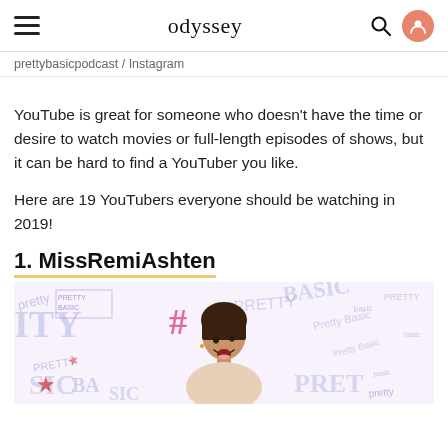odyssey
prettybasicpodcast / Instagram
YouTube is great for someone who doesn't have the time or desire to watch movies or full-length episodes of shows, but it can be hard to find a YouTuber you like.
Here are 19 YouTubers everyone should be watching in 2019!
1. MissRemiAshten
[Figure (photo): Photo of MissRemiAshten (a young woman smiling and looking upward) against a background covered in handwritten 'Pretty Basic' text, hashtags, and star doodles in purple, pink, red and blue.]